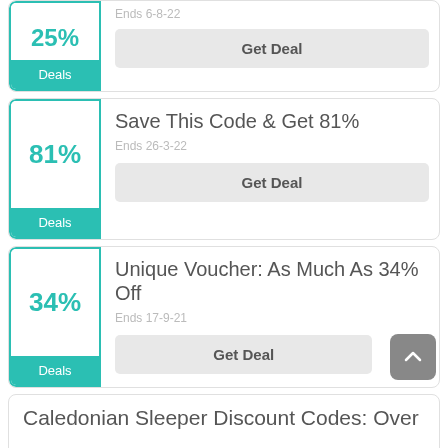[Figure (other): Deal card (top cropped) showing 25% discount badge with teal color and Deals label, with Ends 6-8-22 date and Get Deal button]
[Figure (other): Deal card showing 81% discount badge with teal color and Deals label, title Save This Code & Get 81%, Ends 26-3-22, Get Deal button]
[Figure (other): Deal card showing 34% discount badge with teal color and Deals label, title Unique Voucher: As Much As 34% Off, Ends 17-9-21, Get Deal button, back-to-top arrow button]
[Figure (other): Partial deal card showing title Caledonian Sleeper Discount Codes: Over (text cut off at bottom)]